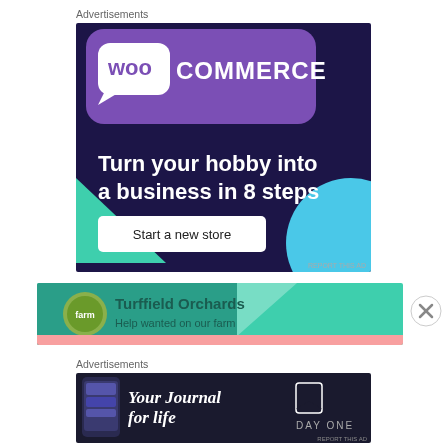Advertisements
[Figure (illustration): WooCommerce advertisement: dark blue/purple background with purple rounded rectangle at top containing WooCommerce logo (woo in speech bubble + COMMERCE text). Green triangle shape on left, teal circle on bottom right. Large white bold text: 'Turn your hobby into a business in 8 steps'. White rounded rectangle button with dark text: 'Start a new store'. Small gray text bottom right: 'REPORT THIS AD'.]
[Figure (illustration): Turffield Orchards ad banner: teal/green background with diagonal stripe, logo circle with farm image on left, dark teal text 'Turffield Orchards', subtitle 'Help wanted on our farm'. Below: partial pink/teal banner with red elements visible.]
[Figure (illustration): Close button (X in circle) on right side.]
Advertisements
[Figure (illustration): Day One app advertisement: dark blue/black background, smartphone mockup on left showing app interface, large white italic text 'Your Journal for life', Day One logo (bookmark icon) and 'DAY ONE' text on right. Small gray text bottom right: 'REPORT THIS AD'.]